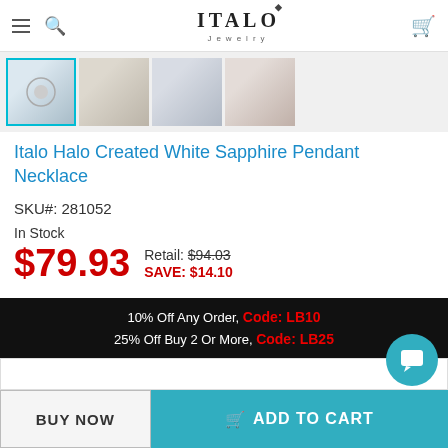ITALO Jewelry
[Figure (photo): Product image thumbnails of a white sapphire pendant necklace, four small thumbnail images in a row]
Italo Halo Created White Sapphire Pendant Necklace
SKU#: 281052
In Stock
$79.93  Retail: $94.03  SAVE: $14.10
★★★★★  3  Reviews
10% Off Any Order, Code: LB10
25% Off Buy 2 Or More, Code: LB25
BUY NOW   ADD TO CART